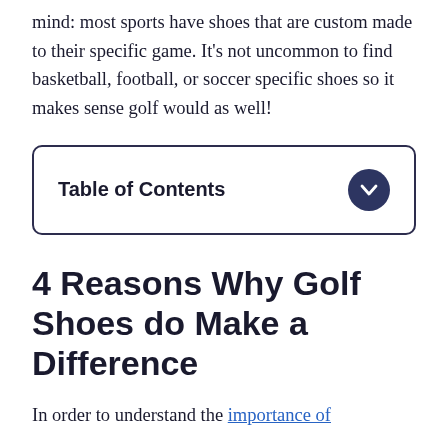mind: most sports have shoes that are custom made to their specific game. It's not uncommon to find basketball, football, or soccer specific shoes so it makes sense golf would as well!
Table of Contents
4 Reasons Why Golf Shoes do Make a Difference
In order to understand the importance of golf shoes, we need to learn a bit of